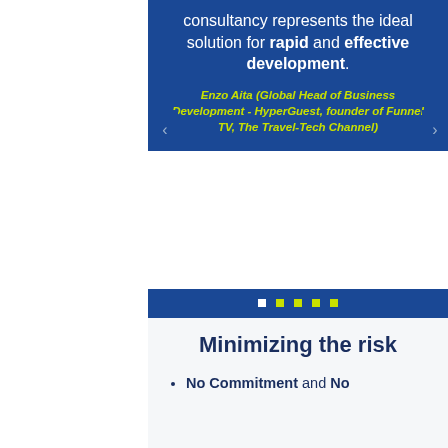consultancy represents the ideal solution for rapid and effective development.
Enzo Aita (Global Head of Business Development - HyperGuest, founder of Funnel TV, The Travel-Tech Channel)
[Figure (other): Carousel navigation dots: 5 yellow squares and 1 white square indicating current slide position]
Minimizing the risk
No Commitment and No